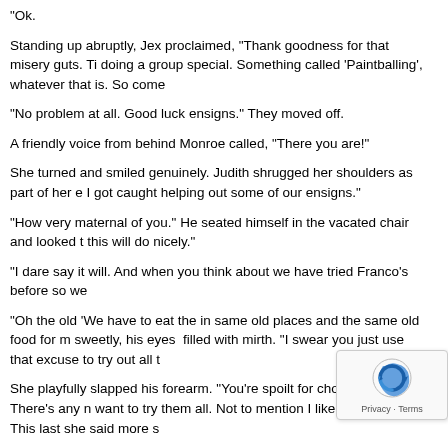Ok.
Standing up abruptly, Jex proclaimed, "Thank goodness for that misery guts. Ti doing a group special. Something called 'Paintballing', whatever that is. So come
"No problem at all. Good luck ensigns." They moved off.
A friendly voice from behind Monroe called, "There you are!"
She turned and smiled genuinely. Judith shrugged her shoulders as part of her e I got caught helping out some of our ensigns."
"How very maternal of you." He seated himself in the vacated chair and looked t this will do nicely."
"I dare say it will. And when you think about we have tried Franco's before so we
"Oh the old 'We have to eat the in same old places and the same old food for m sweetly, his eyes  filled with mirth. "I swear you just use that excuse to try out all t
She playfully slapped his forearm. "You're spoilt for choice here. There's any n want to try them all. Not to mention I like the company." This last she said more s
He sidled in closer. "Well you know there's a perfectly good way to fix your dilem
"Don't start that debate again. I told you before; I'm a born and bred frontier girl. stars beyond and the milling craft.
"Do I need to inform you that Starbase 49 is part of that frontier?"
"Yes I know but I like doing my job."
"The people here, and all who come to us, need doctors too. The Starbase co